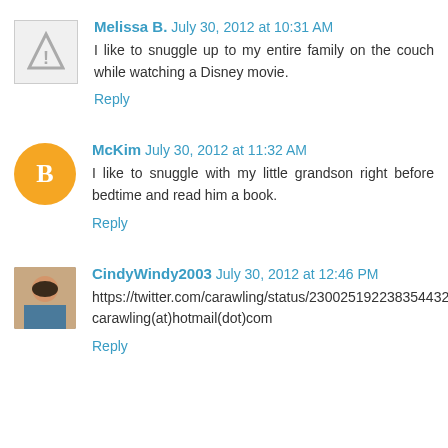Melissa B. July 30, 2012 at 10:31 AM
I like to snuggle up to my entire family on the couch while watching a Disney movie.
Reply
McKim July 30, 2012 at 11:32 AM
I like to snuggle with my little grandson right before bedtime and read him a book.
Reply
CindyWindy2003 July 30, 2012 at 12:46 PM
https://twitter.com/carawling/status/230025192238354432
carawling(at)hotmail(dot)com
Reply